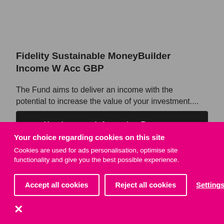Fidelity Sustainable MoneyBuilder Income W Acc GBP
The Fund aims to deliver an income with the potential to increase the value of your investment....
Key Investor Information Document
Your choice regarding cookies on this site
Cookies are used for ads personalisation, optimise site functionality and give you the best possible experience.
Accept all cookies
Reject all cookies
Settings
×